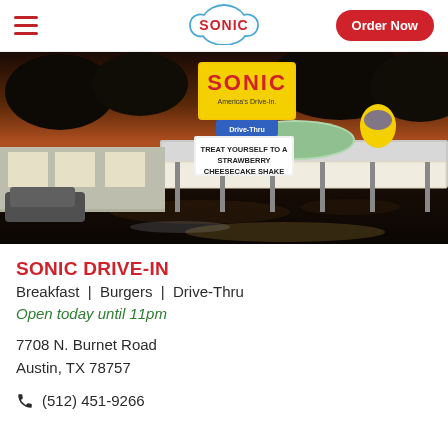SONIC | Order Now
[Figure (photo): Exterior nighttime photo of a Sonic Drive-In restaurant with illuminated sign reading 'SONIC America's Drive-In' and a marquee sign saying 'TREAT YOURSELF TO A STRAWBERRY CHEESECAKE SHAKE'. The drive-in is lit up at dusk/night with cars and customers visible.]
SONIC DRIVE-IN
Breakfast  |  Burgers  |  Drive-Thru
Open today until 11pm
7708 N. Burnet Road
Austin, TX 78757
(512) 451-9266